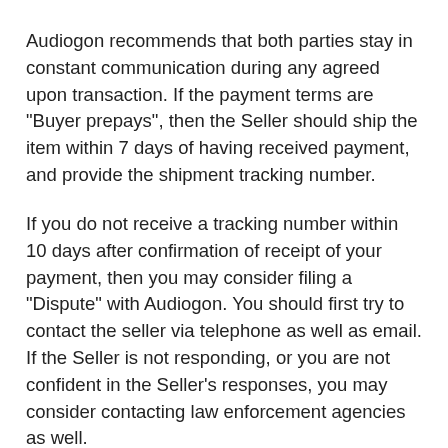Audiogon recommends that both parties stay in constant communication during any agreed upon transaction. If the payment terms are "Buyer prepays", then the Seller should ship the item within 7 days of having received payment, and provide the shipment tracking number.
If you do not receive a tracking number within 10 days after confirmation of receipt of your payment, then you may consider filing a "Dispute" with Audiogon. You should first try to contact the seller via telephone as well as email. If the Seller is not responding, or you are not confident in the Seller's responses, you may consider contacting law enforcement agencies as well.
PLEASE NOTE: the time periods described above are for domestic transactions where both parties are in the same country. Also, there may be special circumstances that delay a transaction, but both parties should be communicating